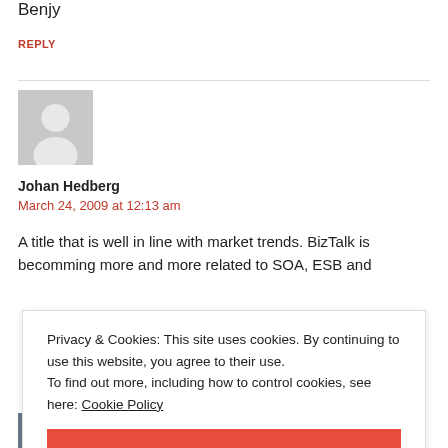Benjy
REPLY
[Figure (illustration): Default grey avatar silhouette placeholder image for user Johan Hedberg]
Johan Hedberg
March 24, 2009 at 12:13 am
A title that is well in line with market trends. BizTalk is becomming more and more related to SOA, ESB and
Privacy & Cookies: This site uses cookies. By continuing to use this website, you agree to their use.
To find out more, including how to control cookies, see here: Cookie Policy
CLOSE AND ACCEPT
[Figure (photo): Small thumbnail photo at bottom left corner]